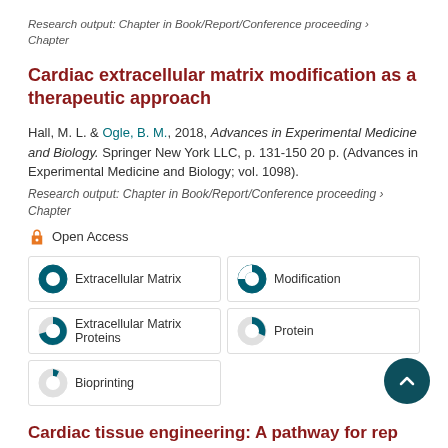Research output: Chapter in Book/Report/Conference proceeding › Chapter
Cardiac extracellular matrix modification as a therapeutic approach
Hall, M. L. & Ogle, B. M., 2018, Advances in Experimental Medicine and Biology. Springer New York LLC, p. 131-150 20 p. (Advances in Experimental Medicine and Biology; vol. 1098).
Research output: Chapter in Book/Report/Conference proceeding › Chapter
Open Access
[Figure (infographic): Keyword badges with donut/pie chart icons showing research keyword coverage levels: Extracellular Matrix (100%), Modification (~75%), Extracellular Matrix Proteins (~55%), Protein (~50%), Bioprinting (~25%)]
Cardiac tissue engineering: A pathway for rep
Hortensius, R., Lin, W. H. & Ogle, B. M., Jan 1 2018, Engineering in Medicine, Advances and Challenges. Elec…